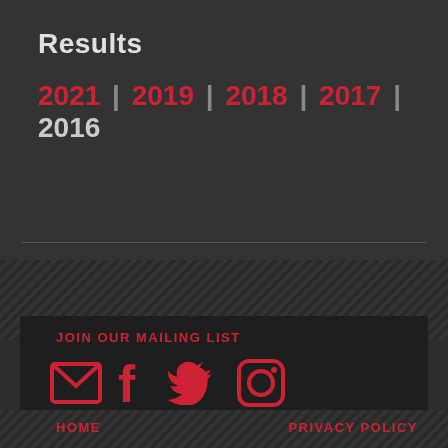Results
2021 | 2019 | 2018 | 2017 | 2016
JOIN OUR MAILING LIST
[Figure (illustration): Social media icons: email envelope, Facebook f, Twitter bird, Instagram camera]
HOME   PRIVACY POLICY